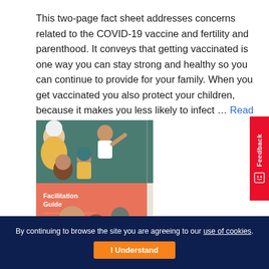This two-page fact sheet addresses concerns related to the COVID-19 vaccine and fertility and parenthood. It conveys that getting vaccinated is one way you can stay strong and healthy so you can continue to provide for your family. When you get vaccinated you also protect your children, because it makes you less likely to infect … Read More »
[Figure (illustration): Book cover of a Facilitation Guide from Mothers x Mothers, showing illustrated diverse women figures on a salmon/coral colored cover with teal and beige accents.]
By continuing to browse the site you are agreeing to our use of cookies.